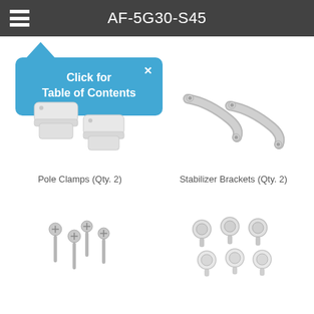AF-5G30-S45
[Figure (illustration): Tooltip/popup box with blue background showing 'Click for Table of Contents' text with a close X button and upward pointing arrow]
[Figure (photo): Pole Clamps product photo showing two white plastic pole clamp pieces]
Pole Clamps (Qty. 2)
[Figure (photo): Stabilizer Brackets product photo showing two grey metal stabilizer bracket pieces]
Stabilizer Brackets (Qty. 2)
[Figure (photo): Screws product photo showing four silver metal screws]
[Figure (photo): Bolts/knobs product photo showing six white plastic bolt knobs arranged in two rows]